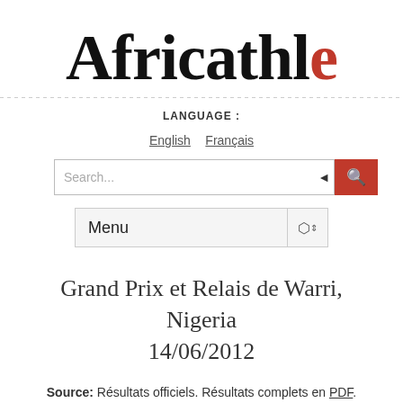[Figure (logo): Africathle logo with 'Africathl' in black serif bold font and 'e' in red]
LANGUAGE :
English   Français
Search...
Menu
Grand Prix et Relais de Warri, Nigeria 14/06/2012
Source: Résultats officiels. Résultats complets en PDF.
HOMMES